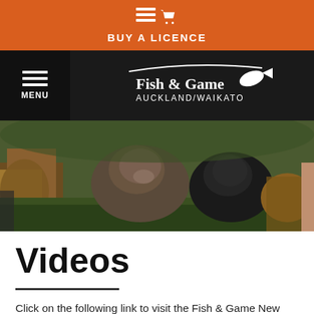BUY A LICENCE
[Figure (logo): Fish & Game Auckland/Waikato logo on dark navigation bar with hamburger menu]
[Figure (photo): Two hunting dogs with pheasants on grass]
Videos
Click on the following link to visit the Fish & Game New Zealand YouTube Channel to see all of our New Zealand hunting and fishing videos.